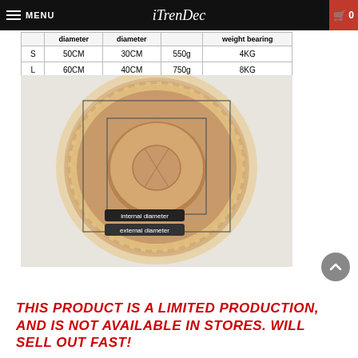MENU | iTrenDec | 0
|  | diameter | diameter |  | weight bearing |
| --- | --- | --- | --- | --- |
| S | 50CM | 30CM | 550g | 4KG |
| L | 60CM | 40CM | 750g | 8KG |
[Figure (photo): Round fluffy pet bed (donut shaped) in beige/cream color, shown with measurement diagram indicating internal diameter and external diameter labels]
THIS PRODUCT IS A LIMITED PRODUCTION, AND IS NOT AVAILABLE IN STORES. WILL SELL OUT FAST!